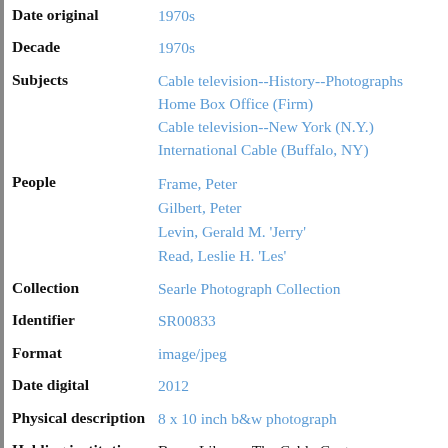| Field | Value |
| --- | --- |
| Date original | 1970s |
| Decade | 1970s |
| Subjects | Cable television--History--Photographs
Home Box Office (Firm)
Cable television--New York (N.Y.)
International Cable (Buffalo, NY) |
| People | Frame, Peter
Gilbert, Peter
Levin, Gerald M. 'Jerry'
Read, Leslie H. 'Les' |
| Collection | Searle Photograph Collection |
| Identifier | SR00833 |
| Format | image/jpeg |
| Date digital | 2012 |
| Physical description | 8 x 10 inch b&w photograph |
| Holding institution | Barco Library, The Cable Center |
| Copyright | This image is issued by The Cable C...
The Cable Center's Barco Library A... |